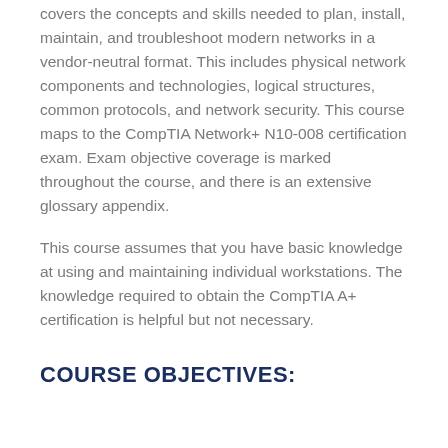covers the concepts and skills needed to plan, install, maintain, and troubleshoot modern networks in a vendor-neutral format. This includes physical network components and technologies, logical structures, common protocols, and network security. This course maps to the CompTIA Network+ N10-008 certification exam. Exam objective coverage is marked throughout the course, and there is an extensive glossary appendix.
This course assumes that you have basic knowledge at using and maintaining individual workstations. The knowledge required to obtain the CompTIA A+ certification is helpful but not necessary.
COURSE OBJECTIVES: